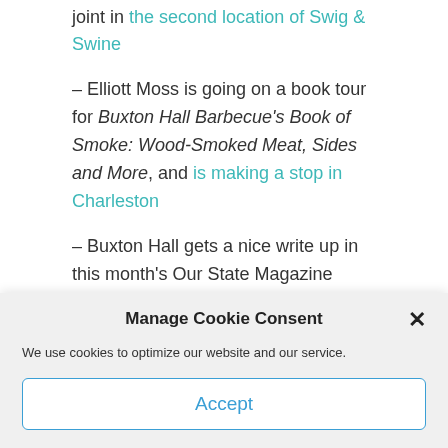joint in the second location of Swig & Swine
– Elliott Moss is going on a book tour for Buxton Hall Barbecue's Book of Smoke: Wood-Smoked Meat, Sides and More, and is making a stop in Charleston
– Buxton Hall gets a nice write up in this month's Our State Magazine
[Figure (screenshot): Gray bar with dotted/faded dots pattern representing blurred or obscured web content]
Manage Cookie Consent
We use cookies to optimize our website and our service.
Accept